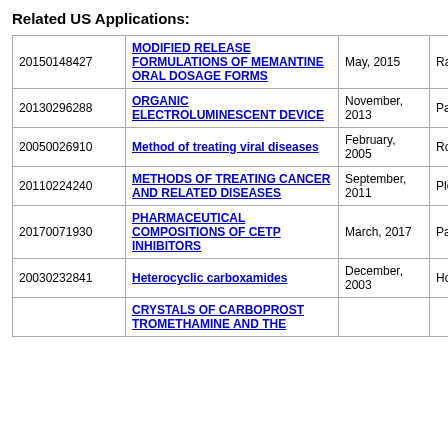Related US Applications:
|  |  |  |  |
| --- | --- | --- | --- |
| 20150148427 | MODIFIED RELEASE FORMULATIONS OF MEMANTINE ORAL DOSAGE FORMS | May, 2015 | Rastogi et al. |
| 20130296288 | ORGANIC ELECTROLUMINESCENT DEVICE | November, 2013 | Pan et al. |
| 20050026910 | Method of treating viral diseases | February, 2005 | Roush et al. |
| 20110224240 | METHODS OF TREATING CANCER AND RELATED DISEASES | September, 2011 | Pleiman et al. |
| 20170071930 | PHARMACEUTICAL COMPOSITIONS OF CETP INHIBITORS | March, 2017 | Padhi et al. |
| 20030232841 | Heterocyclic carboxamides | December, 2003 | Howard |
|  | CRYSTALS OF CARBOPROST TROMETHAMINE AND THE |  |  |